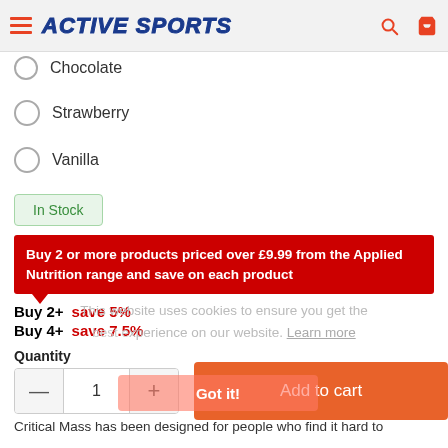ACTIVE SPORTS
Chocolate
Strawberry
Vanilla
In Stock
Buy 2 or more products priced over £9.99 from the Applied Nutrition range and save on each product
Buy 2+  save 5%
Buy 4+  save 7.5%
This website uses cookies to ensure you get the best experience on our website. Learn more
Quantity
1
Add to cart
Got it!
Critical Mass has been designed for people who find it hard to